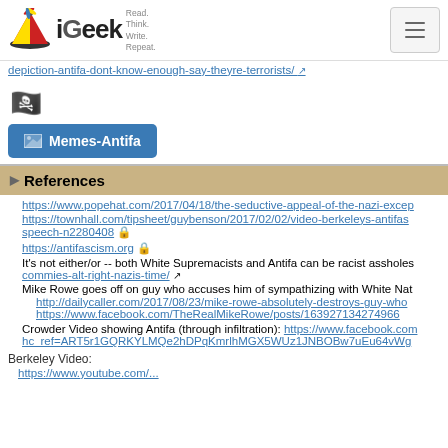iGeek - Read. Think. Write. Repeat.
depiction-antifa-dont-know-enough-say-theyre-terrorists/
[Figure (illustration): Skull and crossbones emoji icon]
Memes-Antifa
References
https://www.popehat.com/2017/04/18/the-seductive-appeal-of-the-nazi-excep...
https://townhall.com/tipsheet/guybenson/2017/02/02/video-berkeleys-antifas... speech-n2280408 🔒
https://antifascism.org 🔒
It's not either/or -- both White Supremacists and Antifa can be racist assholes... commies-alt-right-nazis-time/ ↗
Mike Rowe goes off on guy who accuses him of sympathizing with White Nat...
http://dailycaller.com/2017/08/23/mike-rowe-absolutely-destroys-guy-who...
https://www.facebook.com/TheRealMikeRowe/posts/1639271342749669...
Crowder Video showing Antifa (through infiltration): https://www.facebook.com... hc_ref=ART5r1GQRKYLMQe2hDPqKmrlhMGX5WUz1JNBOBw7uEu64vWg...
Berkeley Video:
https://www.youtube.com/...